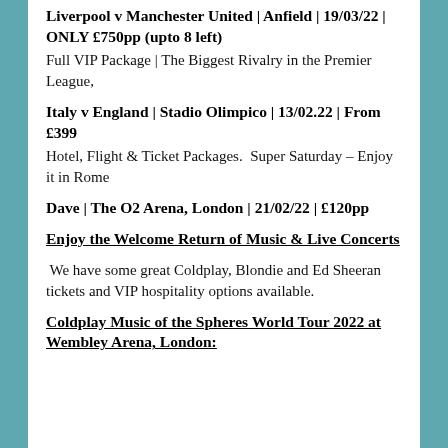Liverpool v Manchester United | Anfield | 19/03/22 | ONLY £750pp (upto 8 left)
Full VIP Package | The Biggest Rivalry in the Premier League,
Italy v England | Stadio Olimpico | 13/02.22 | From £399
Hotel, Flight & Ticket Packages.  Super Saturday – Enjoy it in Rome
Dave | The O2 Arena, London | 21/02/22 | £120pp
Enjoy the Welcome Return of Music & Live Concerts
We have some great Coldplay, Blondie and Ed Sheeran tickets and VIP hospitality options available.
Coldplay Music of the Spheres World Tour 2022 at Wembley Arena, London: